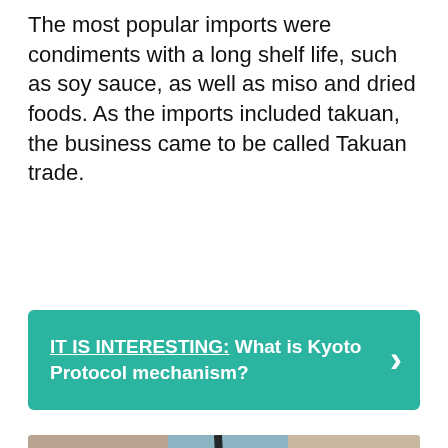The most popular imports were condiments with a long shelf life, such as soy sauce, as well as miso and dried foods. As the imports included takuan, the business came to be called Takuan trade.
[Figure (infographic): Teal/green banner with text: IT IS INTERESTING: What is Kyoto Protocol mechanism? with a right-arrow chevron on the right side.]
[Figure (screenshot): YouTube video thumbnail showing 'Japan on the United States' with historic photos of Japanese people, Mt. Fuji painting, American flag, and a city skyline collage. YouTube play button centered.]